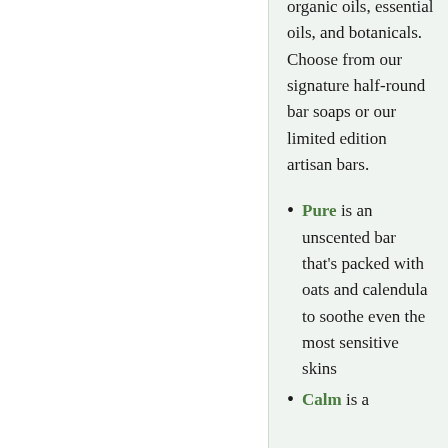organic oils, essential oils, and botanicals. Choose from our signature half-round bar soaps or our limited edition artisan bars.
Pure is an unscented bar that's packed with oats and calendula to soothe even the most sensitive skins
Calm is a